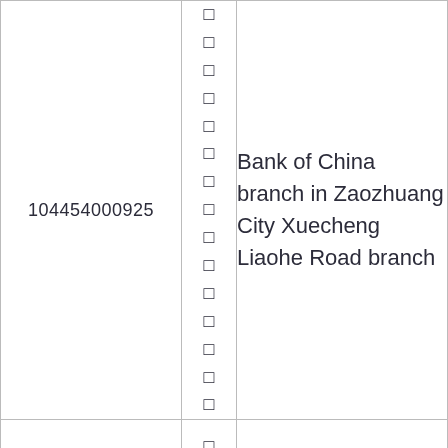| 104454000925 | □
□
□
□
□
□
□
□
□
□
□
□
□
□
□ | Bank of China branch in Zaozhuang City Xuecheng Liaohe Road branch |
|  | □
□
□
□ |  |